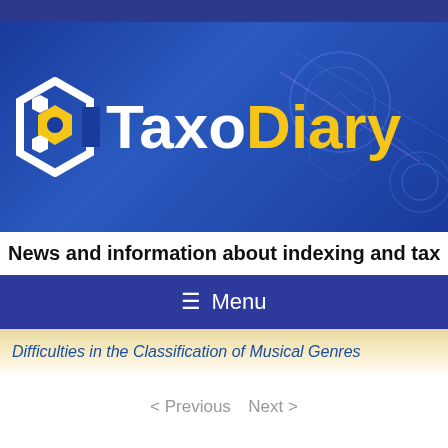[Figure (logo): TaxoDiary logo with hexagonal icon and brand name. White hexagon shape with gold/yellow inner hexagons on blue background. Text reads 'TaxoDiary' with 'Taxo' in white and 'Diary' in gold/yellow.]
News and information about indexing and taxonomy
≡ Menu
Difficulties in the Classification of Musical Genres
< Previous  Next >